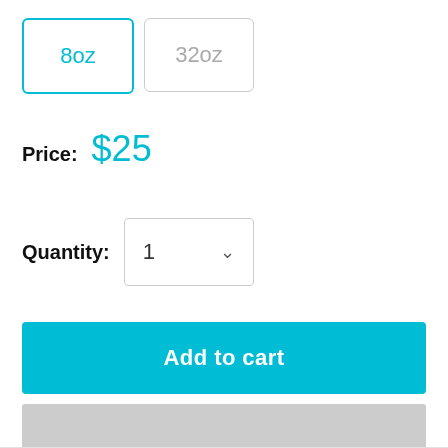8oz (selected), 32oz
Price: $25
Quantity: 1
Add to cart
Share this product